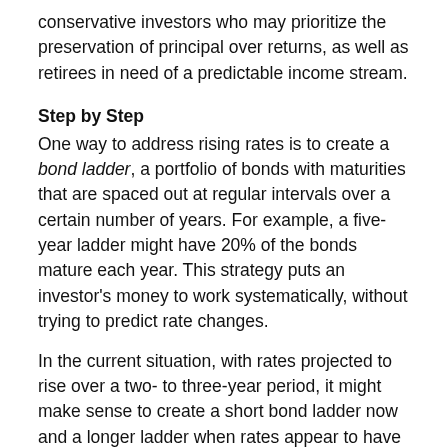conservative investors who may prioritize the preservation of principal over returns, as well as retirees in need of a predictable income stream.
Step by Step
One way to address rising rates is to create a bond ladder, a portfolio of bonds with maturities that are spaced out at regular intervals over a certain number of years. For example, a five-year ladder might have 20% of the bonds mature each year. This strategy puts an investor's money to work systematically, without trying to predict rate changes.
In the current situation, with rates projected to rise over a two- to three-year period, it might make sense to create a short bond ladder now and a longer ladder when rates appear to have stabilized. Keep in mind that these are only projections, based on current conditions, and may not come to pass. The actual direction of interest rates might change.
Reinvesting or Taking Withdrawals